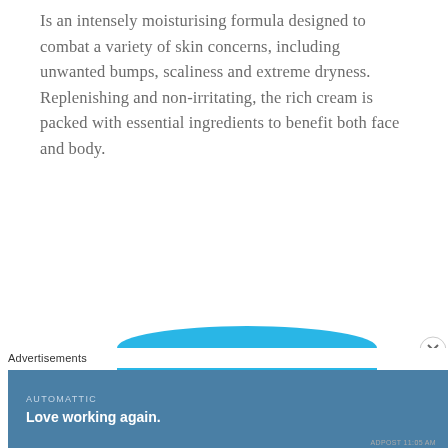Is an intensely moisturising formula designed to combat a variety of skin concerns, including unwanted bumps, scaliness and extreme dryness. Replenishing and non-irritating, the rich cream is packed with essential ingredients to benefit both face and body.
[Figure (photo): A round cream jar with a bright blue lid and white base, partially visible with red and blue label markings on the lower portion]
Advertisements
AUTOMATTIC
Love working again.